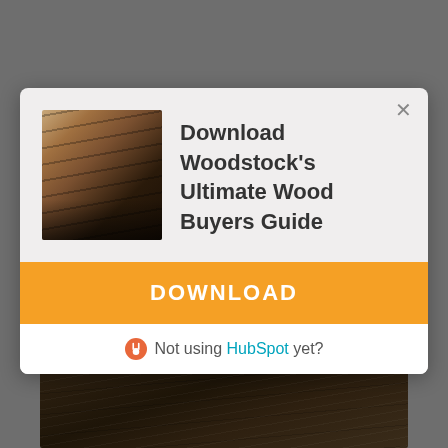[Figure (screenshot): Modal popup dialog over a dark background with wood texture below. Contains an image of a wood-paneled wall corridor, the title 'Download Woodstock's Ultimate Wood Buyers Guide', an orange DOWNLOAD button, and a HubSpot branding bar.]
Download Woodstock's Ultimate Wood Buyers Guide
DOWNLOAD
Not using HubSpot yet?